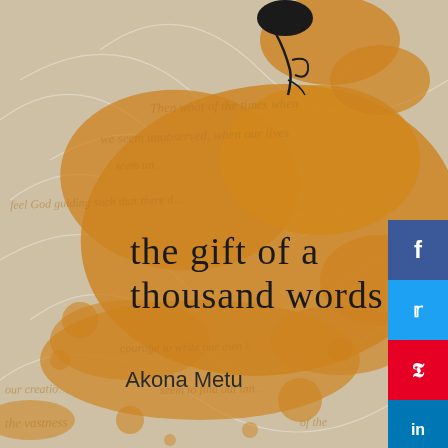[Figure (illustration): Book cover for 'the gift of a thousand words' by Akona Metu. Features an orange/amber watercolor ink splash background on beige/tan textured paper, with white script text overlay containing partial quotes, a black decorative figure/balloon at top, the book title in large black cursive script, and the author's name at bottom. Social media sharing buttons (Facebook, Twitter, Pinterest, LinkedIn, Email) appear on the right side.]
the gift of a thousand words
Akona Metu